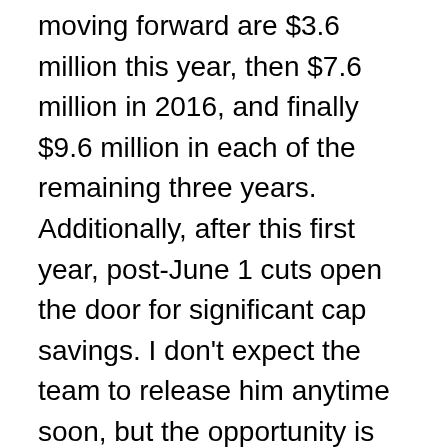moving forward are $3.6 million this year, then $7.6 million in 2016, and finally $9.6 million in each of the remaining three years. Additionally, after this first year, post-June 1 cuts open the door for significant cap savings. I don't expect the team to release him anytime soon, but the opportunity is there if needed.
After that, the 49ers are dealing with all sub-million dollar cap hits. Aside from DeAndre Smelter (likely starting the season on the NFI list), the 49ers have two draft picks on their rookie contracts. Bruce Ellington is entering year two of his deal, while Quinton Patton is entering year three. Although Patton has one year left on his deal, this year is a big one for him. Even with the addition of Torrey Smith, he is reaching a point where he needs to prove something of significance pretty soon. If he struggles to get on the field again in his